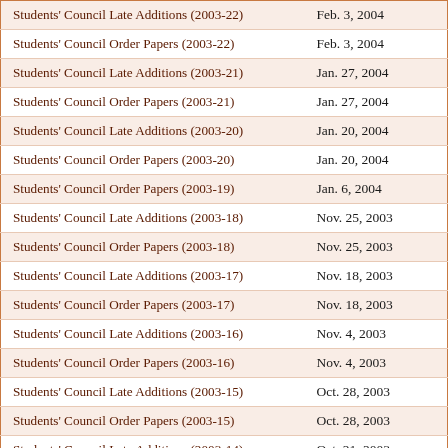| Document | Date |
| --- | --- |
| Students' Council Late Additions (2003-22) | Feb. 3, 2004 |
| Students' Council Order Papers (2003-22) | Feb. 3, 2004 |
| Students' Council Late Additions (2003-21) | Jan. 27, 2004 |
| Students' Council Order Papers (2003-21) | Jan. 27, 2004 |
| Students' Council Late Additions (2003-20) | Jan. 20, 2004 |
| Students' Council Order Papers (2003-20) | Jan. 20, 2004 |
| Students' Council Order Papers (2003-19) | Jan. 6, 2004 |
| Students' Council Late Additions (2003-18) | Nov. 25, 2003 |
| Students' Council Order Papers (2003-18) | Nov. 25, 2003 |
| Students' Council Late Additions (2003-17) | Nov. 18, 2003 |
| Students' Council Order Papers (2003-17) | Nov. 18, 2003 |
| Students' Council Late Additions (2003-16) | Nov. 4, 2003 |
| Students' Council Order Papers (2003-16) | Nov. 4, 2003 |
| Students' Council Late Additions (2003-15) | Oct. 28, 2003 |
| Students' Council Order Papers (2003-15) | Oct. 28, 2003 |
| Students' Council Late Additions (2003-14) | Oct. 21, 2003 |